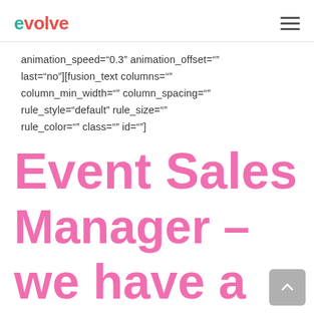evolve
animation_speed="0.3" animation_offset="" last="no"][fusion_text columns="" column_min_width="" column_spacing="" rule_style="default" rule_size="" rule_color="" class="" id=""]
Event Sales Manager – we have a